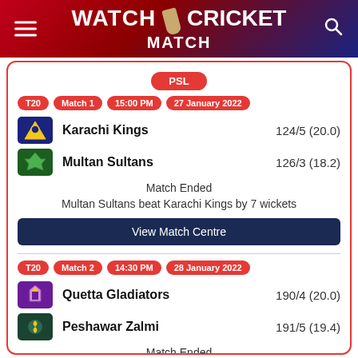[Figure (screenshot): Website header banner with hamburger menu, WATCH CRICKET MATCH title with cricket bat icon, and search icon on dark red/navy gradient background]
PSL
T20  Match 1  15:00 PM  27 January 2022
Karachi Kings  124/5 (20.0)
Multan Sultans  126/3 (18.2)
Match Ended
Multan Sultans beat Karachi Kings by 7 wickets
View Match Centre
T20  Match 2  14:30 PM  28 January 2022
Quetta Gladiators  190/4 (20.0)
Peshawar Zalmi  191/5 (19.4)
Match Ended
Peshawar Zalmi beat Quetta Gladiators by 5 wickets
View Match Centre